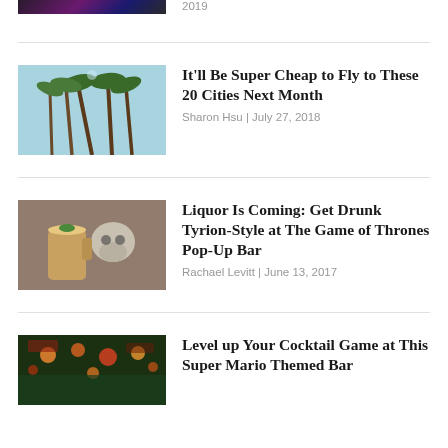[Figure (photo): Partial image of colorful lights/concert scene at top]
2019
[Figure (photo): Palm trees viewed from below against a blue sky]
It'll Be Super Cheap to Fly to These 20 Cities Next Month
Sharon Hsu | July 27, 2018
[Figure (photo): Skull mugs with drinks at a bar]
Liquor Is Coming: Get Drunk Tyrion-Style at The Game of Thrones Pop-Up Bar
Rachael Levitt | June 13, 2017
[Figure (photo): Colorful bar interior with lights]
Level up Your Cocktail Game at This Super Mario Themed Bar